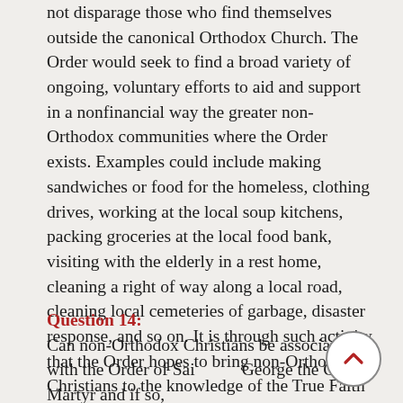not disparage those who find themselves outside the canonical Orthodox Church. The Order would seek to find a broad variety of ongoing, voluntary efforts to aid and support in a nonfinancial way the greater non-Orthodox communities where the Order exists. Examples could include making sandwiches or food for the homeless, clothing drives, working at the local soup kitchens, packing groceries at the local food bank, visiting with the elderly in a rest home, cleaning a right of way along a local road, cleaning local cemeteries of garbage, disaster response, and so on. It is through such activity that the Order hopes to bring non-Orthodox Christians to the knowledge of the True Faith established by Christ.
Question 14:
Can non-Orthodox Christians be associated with the Order of Saint George the Great Martyr and if so, what rules and restrictions would be